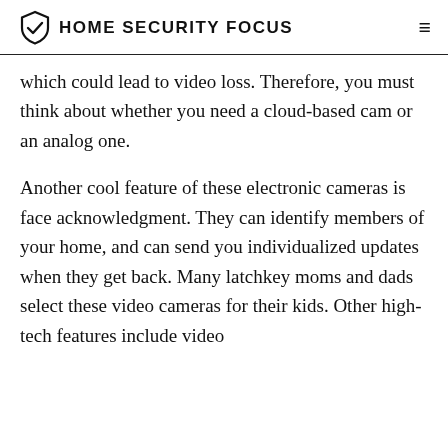HOME SECURITY FOCUS
which could lead to video loss. Therefore, you must think about whether you need a cloud-based cam or an analog one.
Another cool feature of these electronic cameras is face acknowledgment. They can identify members of your home, and can send you individualized updates when they get back. Many latchkey moms and dads select these video cameras for their kids. Other high-tech features include video